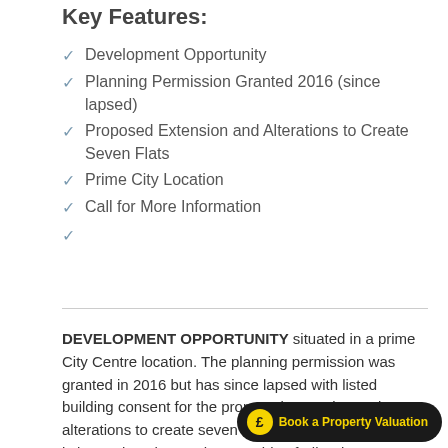Key Features:
Development Opportunity
Planning Permission Granted 2016 (since lapsed)
Proposed Extension and Alterations to Create Seven Flats
Prime City Location
Call for More Information
DEVELOPMENT OPPORTUNITY situated in a prime City Centre location. The planning permission was granted in 2016 but has since lapsed with listed building consent for the proposed extension and alterations to create seven self contained flats. The site is located on the North West side of All Saints Green near Norwich Bus Station and is currently being used as a parking area. Ivory House is within the City Centre Conservation Area and within that the All Saints Green Conservation Area.